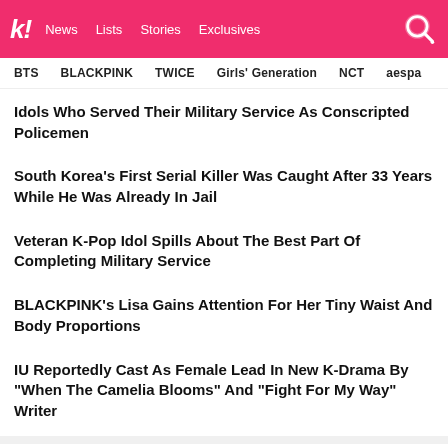koreaboo | News  Lists  Stories  Exclusives
BTS   BLACKPINK   TWICE   Girls' Generation   NCT   aespa
Idols Who Served Their Military Service As Conscripted Policemen
South Korea's First Serial Killer Was Caught After 33 Years While He Was Already In Jail
Veteran K-Pop Idol Spills About The Best Part Of Completing Military Service
BLACKPINK's Lisa Gains Attention For Her Tiny Waist And Body Proportions
IU Reportedly Cast As Female Lead In New K-Drama By "When The Camelia Blooms" And "Fight For My Way" Writer
NEXT ARTICLE